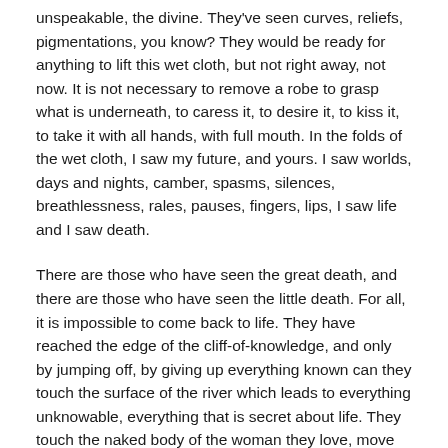unspeakable, the divine. They've seen curves, reliefs, pigmentations, you know? They would be ready for anything to lift this wet cloth, but not right away, not now. It is not necessary to remove a robe to grasp what is underneath, to caress it, to desire it, to kiss it, to take it with all hands, with full mouth. In the folds of the wet cloth, I saw my future, and yours. I saw worlds, days and nights, camber, spasms, silences, breathlessness, rales, pauses, fingers, lips, I saw life and I saw death.
There are those who have seen the great death, and there are those who have seen the little death. For all, it is impossible to come back to life. They have reached the edge of the cliff-of-knowledge, and only by jumping off, by giving up everything known can they touch the surface of the river which leads to everything unknowable, everything that is secret about life. They touch the naked body of the woman they love, move